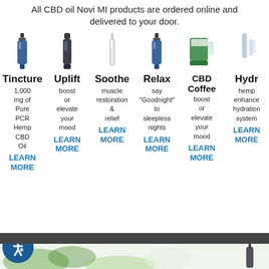All CBD oil Novi MI products are ordered online and delivered to your door.
[Figure (infographic): Six CBD product columns with product images, names, descriptions, and LEARN MORE links: Tincture (1,000 mg of Pure PCR Hemp CBD Oil), Uplift (boost or elevate your mood), Soothe (muscle restoration & relief), Relax (say Goodnight to sleepless nights), CBD Coffee (boost or elevate your mood), Hydr... (hemp enhanced hydration system). Each has a LEARN MORE blue link.]
[Figure (photo): Bottom strip showing green hemp leaves and a dropper bottle, partial view.]